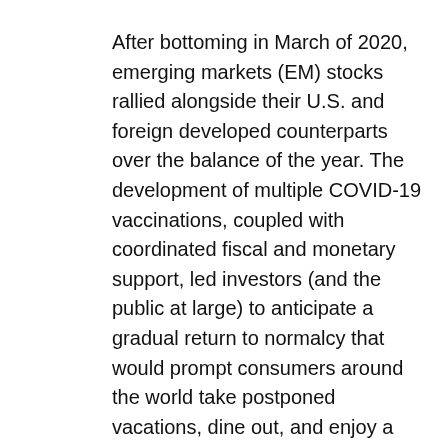After bottoming in March of 2020, emerging markets (EM) stocks rallied alongside their U.S. and foreign developed counterparts over the balance of the year. The development of multiple COVID-19 vaccinations, coupled with coordinated fiscal and monetary support, led investors (and the public at large) to anticipate a gradual return to normalcy that would prompt consumers around the world take postponed vacations, dine out, and enjoy a host of other activities they had foregone amid the pandemic. Those expectations triggered a global stock market rally.
Though many EM countries lacked the ability to provide fiscal stimulus to the extent of the